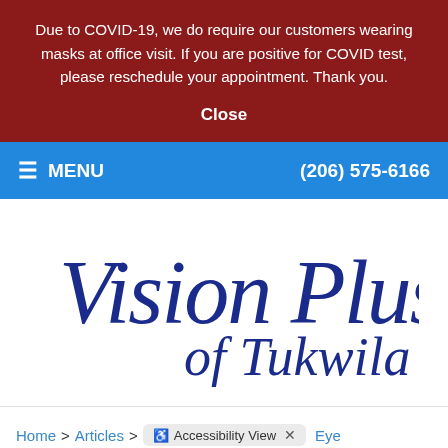Due to COVID-19, we do require our customers wearing masks at office visit. If you are positive for COVID test, please reschedule your appointment. Thank you.
Close
MENU   (206) 575-6166
[Figure (logo): Vision Plus of Tukwila logo in dark blue cursive script on white background]
Home > Articles > [Accessibility View] Eye